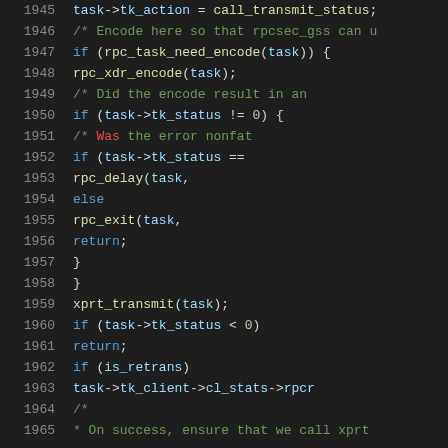[Figure (screenshot): Source code listing lines 1945-1965 showing C code for RPC task handling, with syntax highlighting on dark background. Keywords in blue, function calls in yellow, comments in green.]